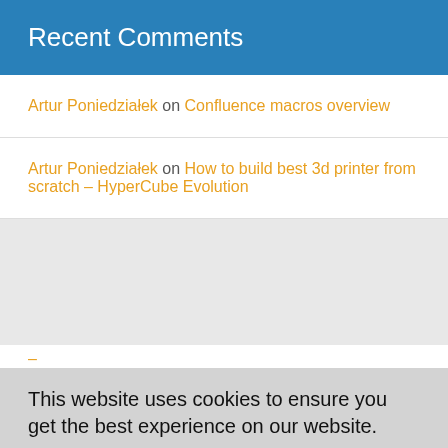Recent Comments
Artur Poniedziałek on Confluence macros overview
Artur Poniedziałek on How to build best 3d printer from scratch – HyperCube Evolution
This website uses cookies to ensure you get the best experience on our website.
Learn More
Got it!
[Figure (infographic): Social sharing bar with Facebook, Twitter, Reddit, LinkedIn, Pinterest, and email icons]